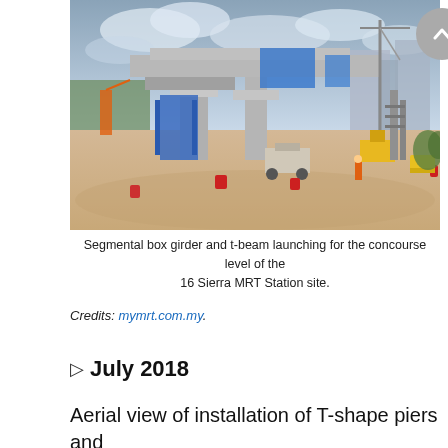[Figure (photo): Aerial view of a construction site showing segmental box girder and t-beam launching for the concourse level of the 16 Sierra MRT Station site. Concrete pillars with blue scaffolding, construction machinery, cranes, and workers visible on sandy ground. Residential buildings in background under cloudy sky.]
Segmental box girder and t-beam launching for the concourse level of the 16 Sierra MRT Station site.
Credits: mymrt.com.my.
⬡ July 2018
Aerial view of installation of T-shape piers and micropiling works at the 16 Sierra MRT Station